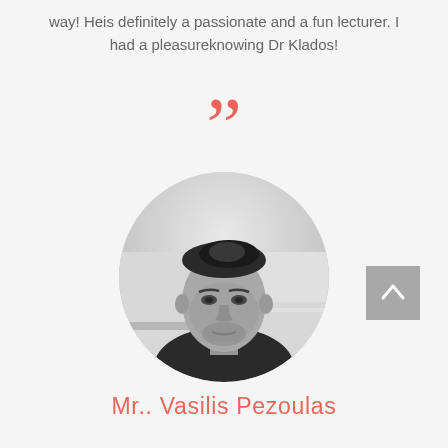way! Heis definitely a passionate and a fun lecturer. I had a pleasureknowing Dr Klados!
[Figure (illustration): Closing double quotation mark in coral/salmon color, large decorative typography]
[Figure (photo): Black and white circular portrait photo of a young man with styled hair, beard, wearing a dark jacket, in an office/classroom setting]
[Figure (other): Gray square back-to-top button with white upward chevron arrow]
Mr.. Vasilis Pezoulas